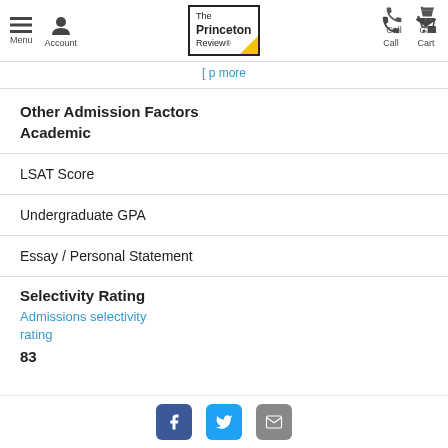Menu Account | The Princeton Review | Call Cart
[ p more
Other Admission Factors Academic
LSAT Score
Undergraduate GPA
Essay / Personal Statement
Selectivity Rating
Admissions selectivity rating
83
Facebook Twitter Email